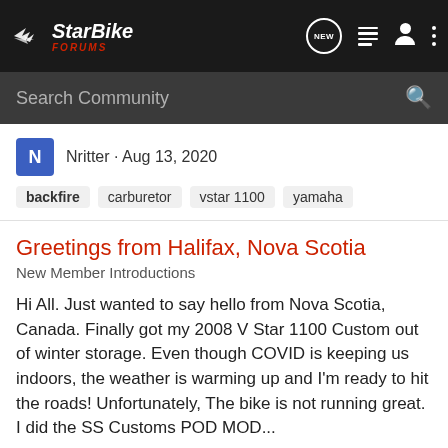StarBike Forums
Search Community
Nritter · Aug 13, 2020
backfire  carburetor  vstar 1100  yamaha
Greetings from Halifax, Nova Scotia
New Member Introductions
Hi All. Just wanted to say hello from Nova Scotia, Canada. Finally got my 2008 V Star 1100 Custom out of winter storage. Even though COVID is keeping us indoors, the weather is warming up and I'm ready to hit the roads! Unfortunately, The bike is not running great. I did the SS Customs POD MOD...
11  655
Yendor4100 · May 21, 2020